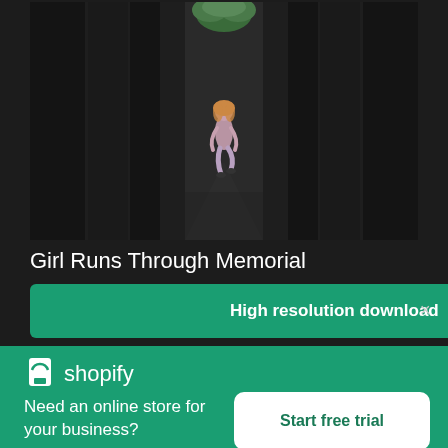[Figure (photo): A girl running through tall dark concrete monolith corridors of a memorial, viewed from behind, with green foliage visible in the distant center]
Girl Runs Through Memorial
High resolution download ↓
[Figure (logo): Shopify logo with shopping bag icon and 'shopify' text in white on green background]
Need an online store for your business?
Start free trial